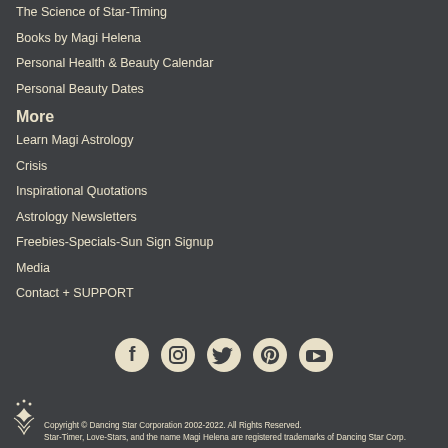The Science of Star-Timing
Books by Magi Helena
Personal Health & Beauty Calendar
Personal Beauty Dates
More
Learn Magi Astrology
Crisis
Inspirational Quotations
Astrology Newsletters
Freebies-Specials-Sun Sign Signup
Media
Contact + SUPPORT
[Figure (other): Row of five social media icons: Facebook, Instagram, Twitter, Pinterest, YouTube]
Copyright © Dancing Star Corporation 2002-2022. All Rights Reserved.
Star-Timer, Love-Stars, and the name Magi Helena are registered trademarks of Dancing Star Corp.